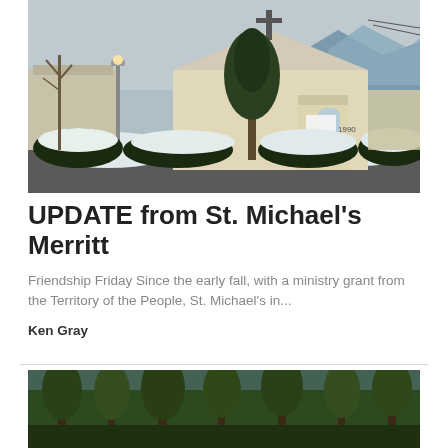[Figure (photo): Exterior of St. Michael's church building in winter with snow on hedges and roof, a cross on top, trees visible, and mountains in the background under cloudy sky.]
UPDATE from St. Michael's Merritt
Friendship Friday Since the early fall, with a ministry grant from the Territory of the People, St. Michael's in...
Ken Gray
[Figure (photo): Partial view of a forested outdoor scene with green trees, bottom of page.]